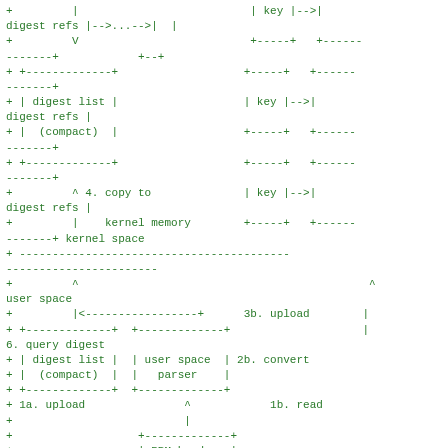[Figure (schematic): ASCII art diagram showing kernel/user space memory architecture with digest lists, keys, digest refs, user space parser, and numbered steps for upload, read, convert operations. Green monospace text on white background.]